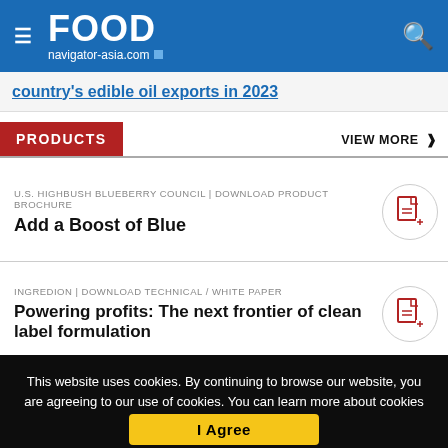FOOD navigator-asia.com
country's edible oil exports in 2023
PRODUCTS
VIEW MORE
U.S. HIGHBUSH BLUEBERRY COUNCIL | DOWNLOAD PRODUCT BROCHURE
Add a Boost of Blue
INGREDION | DOWNLOAD TECHNICAL / WHITE PAPER
Powering profits: The next frontier of clean label formulation
This website uses cookies. By continuing to browse our website, you are agreeing to our use of cookies. You can learn more about cookies by visiting our privacy & cookies policy page.
I Agree